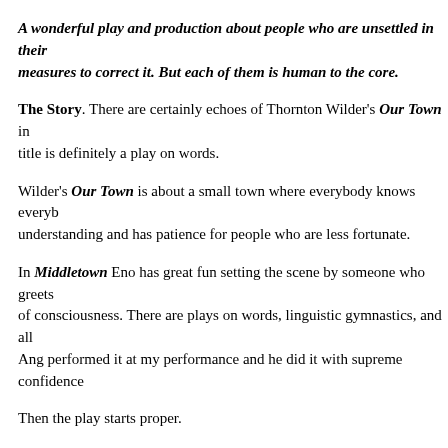A wonderful play and production about people who are unsettled in their measures to correct it. But each of them is human to the core.
The Story. There are certainly echoes of Thornton Wilder's Our Town in title is definitely a play on words.
Wilder's Our Town is about a small town where everybody knows everybody understanding and has patience for people who are less fortunate.
In Middletown Eno has great fun setting the scene by someone who greets of consciousness. There are plays on words, linguistic gymnastics, and all Ang performed it at my performance and he did it with supreme confidence
Then the play starts proper.
In Middletown we soon meet the townsfolk: There is an unhappy, almost a cop who takes his job very seriously; a lurking man who seems almost hom woman named Mary who is moving in to town on her own for now—her h for business; a handyman named John who is a bit of a loser, awkwardly c